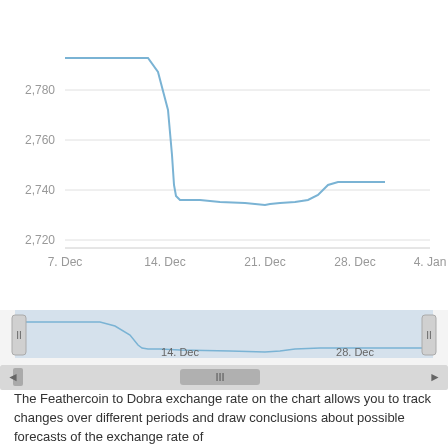[Figure (continuous-plot): Line chart showing Feathercoin to Dobra exchange rate from approximately Dec 7 to Jan 4. The line starts high around 2,792, stays flat, then drops sharply around Dec 14 to approximately 2,738, stays low with a slight dip to ~2,735 around Dec 21, then rises slightly to ~2,745 near Dec 28. Y-axis labels: 2,720, 2,740, 2,760, 2,780. X-axis labels: 7. Dec, 14. Dec, 21. Dec, 28. Dec, 4. Jan. Below the main chart is a navigator/range selector showing a miniature version of the chart with drag handles labeled '14. Dec' and '28. Dec', and a horizontal scrollbar.]
The Feathercoin to Dobra exchange rate on the chart allows you to track changes over different periods and draw conclusions about possible forecasts of the exchange rate of